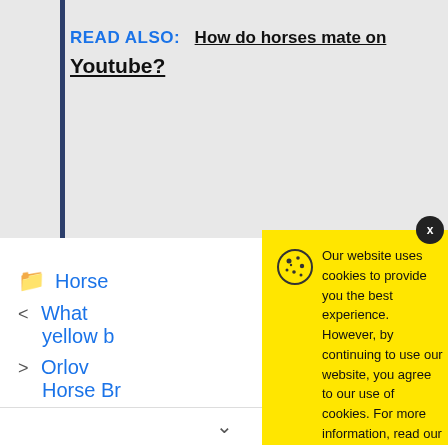READ ALSO: How do horses mate on Youtube?
Horse [folder link]
< What [link] yellow b[utter...]
> Orlov [link] Horse Br[eed...]
[Figure (screenshot): Cookie consent modal on yellow background with cookie icon, text about website cookie policy, and Accept button. Close (x) button in dark circle top-right.]
Our website uses cookies to provide you the best experience. However, by continuing to use our website, you agree to our use of cookies. For more information, read our Cookie Policy.